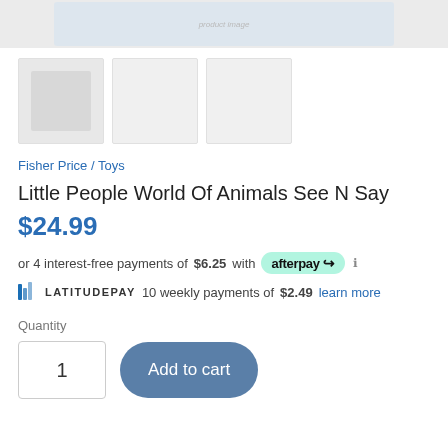[Figure (photo): Product image of Little People World Of Animals See N Say toy box at top of page]
[Figure (photo): Three product thumbnail images in a row]
Fisher Price / Toys
Little People World Of Animals See N Say
$24.99
or 4 interest-free payments of $6.25 with afterpay
LATITUDEPAY 10 weekly payments of $2.49 learn more
Quantity
1
Add to cart